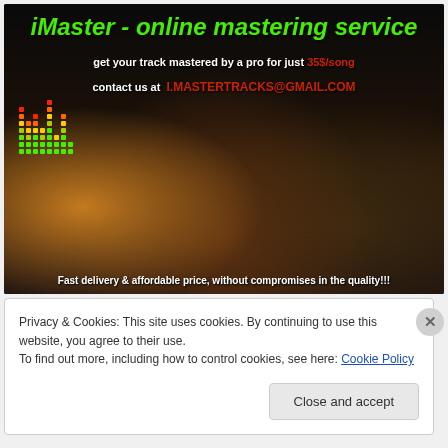[Figure (photo): Dark studio mixing board / audio console with colorful EQ meters visible, used as background for iMaster online mastering service advertisement]
iMaster - online mastering service
get your track mastered by a pro for just 35$/song
contact us at  I.MASTERTRACKS@GMAIL.COM
Fast delivery & affordable price, without compromises in the quality!!!
Privacy & Cookies: This site uses cookies. By continuing to use this website, you agree to their use.
To find out more, including how to control cookies, see here: Cookie Policy